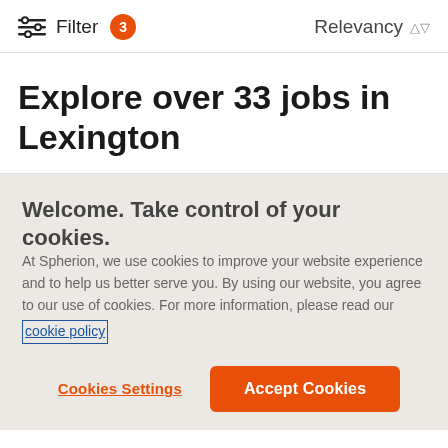Filter 3   Relevancy
Explore over 33 jobs in Lexington
Welcome. Take control of your cookies.
At Spherion, we use cookies to improve your website experience and to help us better serve you. By using our website, you agree to our use of cookies. For more information, please read our cookie policy
Cookies Settings
Accept Cookies